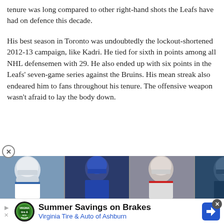tenure was long compared to other right-hand shots the Leafs have had on defence this decade.
His best season in Toronto was undoubtedly the lockout-shortened 2012-13 campaign, like Kadri. He tied for sixth in points among all NHL defensemen with 29. He also ended up with six points in the Leafs’ seven-game series against the Bruins. His mean streak also endeared him to fans throughout his tenure. The offensive weapon wasn’t afraid to lay the body down.
[Figure (photo): Strip of four hockey player photos showing players in various NHL uniforms/helmets]
[Figure (infographic): Advertisement banner for Virginia Tire & Auto of Ashburn - Summer Savings on Brakes]